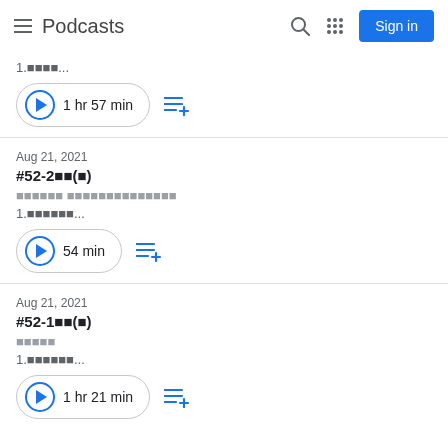Podcasts
1.■■■■...
1 hr 57 min
Aug 21, 2021
#52-2■■(■)
■■■■■■ ■■■■■■■■■■■■■■
1.■■■■■■...
54 min
Aug 21, 2021
#52-1■■(■)
■■■■■
1.■■■■■■...
1 hr 21 min